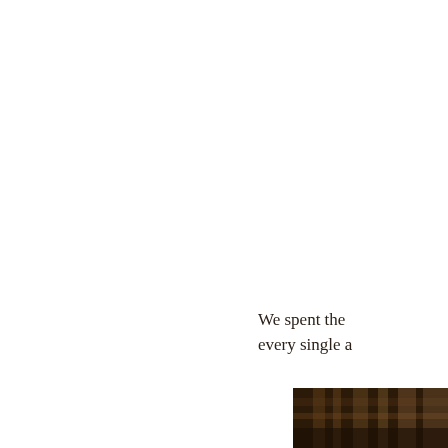We spent the every single a
[Figure (photo): A dark, warm-toned photograph showing what appears to be books or shelves in low light with brown and amber tones, partially visible at the bottom-right corner of the page.]